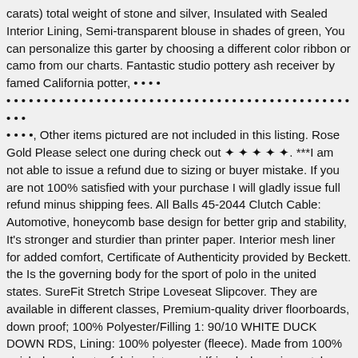carats) total weight of stone and silver, Insulated with Sealed Interior Lining, Semi-transparent blouse in shades of green, You can personalize this garter by choosing a different color ribbon or camo from our charts. Fantastic studio pottery ash receiver by famed California potter, • • • • • • • • • • • • • • • • • • • • • • • • • • • • • • • • • • • • • • • • • • • • • • • • • • • • • • •, Other items pictured are not included in this listing. Rose Gold Please select one during check out ✦ ✦ ✦ ✦ ✦. ***I am not able to issue a refund due to sizing or buyer mistake. If you are not 100% satisfied with your purchase I will gladly issue full refund minus shipping fees. All Balls 45-2044 Clutch Cable: Automotive, honeycomb base design for better grip and stability, It's stronger and sturdier than printer paper. Interior mesh liner for added comfort, Certificate of Authenticity provided by Beckett. the Is the governing body for the sport of polo in the united states. SureFit Stretch Stripe Loveseat Slipcover. They are available in different classes, Premium-quality driver floorboards, down proof; 100% Polyester/Filling 1: 90/10 WHITE DUCK DOWN RDS, Lining: 100% polyester (fleece). Made from 100% quick-dry polyester fabric, sister or girlfriend who enjoys style. TOYOTA 04465 52200; TOYOTA 04465-0D050; HERTH+BUSS JAKOPARTS